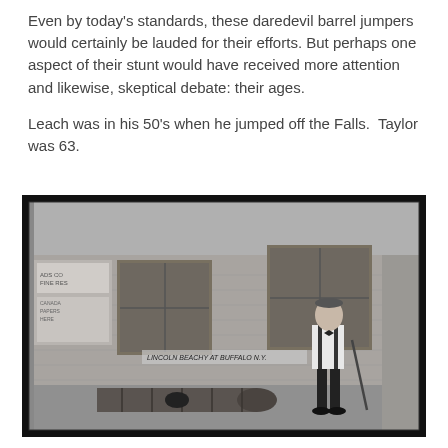Even by today's standards, these daredevil barrel jumpers would certainly be lauded for their efforts. But perhaps one aspect of their stunt would have received more attention and likewise, skeptical debate: their ages.

Leach was in his 50's when he jumped off the Falls.  Taylor was 63.
[Figure (photo): Black and white historical photograph showing a man in white shirt and dark trousers standing next to a large metal barrel/cylinder lying on the ground, in front of a brick building with windows. Text on the photo reads 'LINCOLN BEACHY AT BUFFALO N.Y.' or similar caption.]